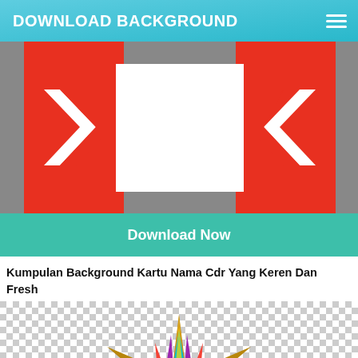DOWNLOAD BACKGROUND
[Figure (illustration): Red and white business card template with arrow/chevron decoration on gray background]
Download Now
Kumpulan Background Kartu Nama Cdr Yang Keren Dan Fresh
[Figure (illustration): Colorful decorative star/spiky shape with gold, blue, purple, red colors on transparent (checkerboard) background]